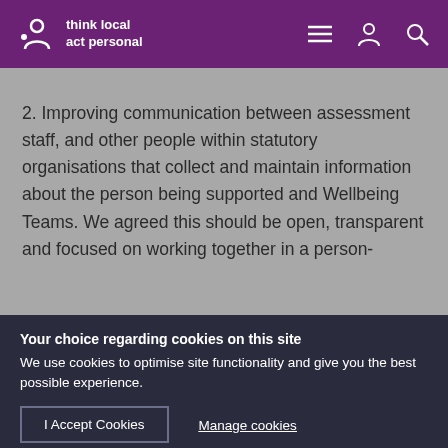think local act personal
2. Improving communication between assessment staff, and other people within statutory organisations that collect and maintain information about the person being supported and Wellbeing Teams. We agreed this should be open, transparent and focused on working together in a person-
Your choice regarding cookies on this site
We use cookies to optimise site functionality and give you the best possible experience.
I Accept Cookies
Manage cookies